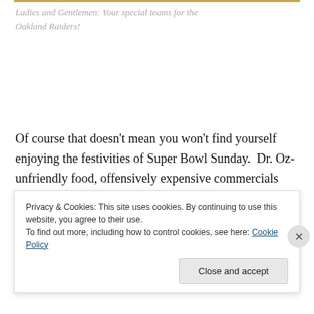Ladies and Gentlemen: Your special teams for the Oakland Raiders!
Of course that doesn't mean you won't find yourself enjoying the festivities of Super Bowl Sunday.  Dr. Oz-unfriendly food, offensively expensive commercials (that always feature a baby doing something un-babyish), the sickeningly adorable Puppy Bowl, and trying to get your
Privacy & Cookies: This site uses cookies. By continuing to use this website, you agree to their use.
To find out more, including how to control cookies, see here: Cookie Policy